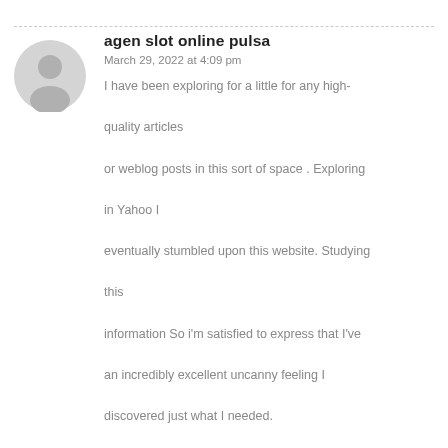[Figure (illustration): Gray circular avatar icon with a generic user silhouette]
agen slot online pulsa
March 29, 2022 at 4:09 pm
I have been exploring for a little for any high-quality articles or weblog posts in this sort of space . Exploring in Yahoo I eventually stumbled upon this website. Studying this information So i'm satisfied to express that I've an incredibly excellent uncanny feeling I discovered just what I needed. I most indisputably will make sure to don?t disregard this website and give it a glance